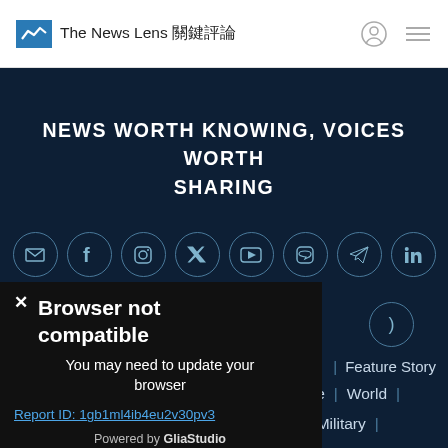The News Lens 關鍵評論
NEWS WORTH KNOWING, VOICES WORTH SHARING
[Figure (screenshot): Row of social media icon circles: email, Facebook, Instagram, Twitter/X, YouTube, LINE, Telegram, LinkedIn]
[Figure (screenshot): Browser not compatible popup overlay with close X button, title 'Browser not compatible', body text 'You may need to update your browser', report ID link 'Report ID: 1gb1ml4ib4eu2v30pv3', and 'Powered by GliaStudio' footer]
Browser not compatible
You may need to update your browser
Report ID: 1gb1ml4ib4eu2v30pv3
Powered by GliaStudio
Education | Health | Politics | Lifestyle | World | Technology | Economy | Career | Military |